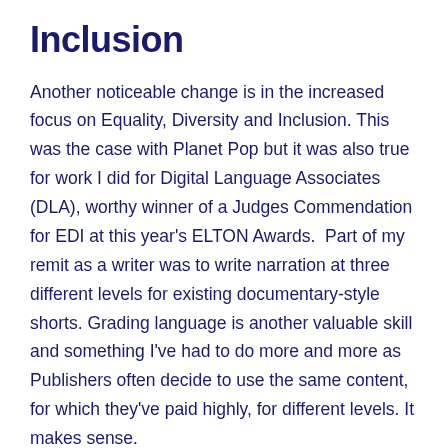Inclusion
Another noticeable change is in the increased focus on Equality, Diversity and Inclusion. This was the case with Planet Pop but it was also true for work I did for Digital Language Associates (DLA), worthy winner of a Judges Commendation for EDI at this year's ELTON Awards. Part of my remit as a writer was to write narration at three different levels for existing documentary-style shorts. Grading language is another valuable skill and something I've had to do more and more as Publishers often decide to use the same content, for which they've paid highly, for different levels. It makes sense.
The writing process
Much of the writing process is the same now as it was